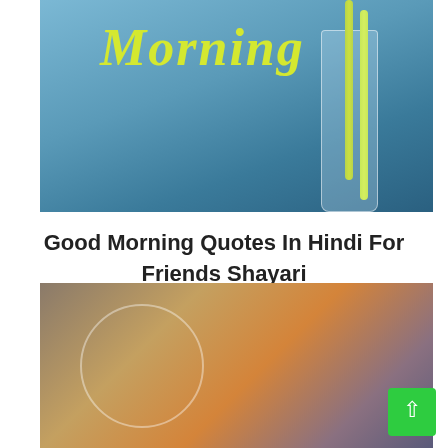[Figure (photo): Good morning themed image with yellow-green text 'Morning' on blue background with straws and glass]
Good Morning Quotes In Hindi For Friends Shayari
सुबह की शुरुआत,जिंदगी खुशी जिंदगानी को खूबसूरत बना दो शुभप्रभात
[Figure (photo): Blurred food/beverage image with circular overlay design]